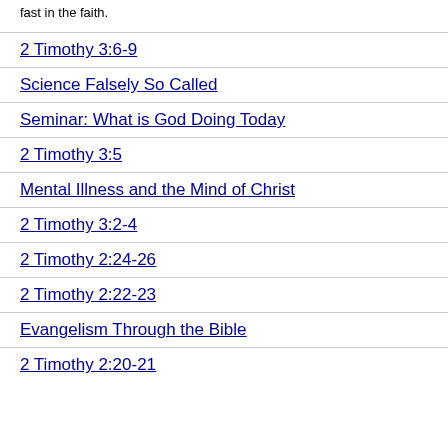fast in the faith.
2 Timothy 3:6-9
Science Falsely So Called
Seminar: What is God Doing Today
2 Timothy 3:5
Mental Illness and the Mind of Christ
2 Timothy 3:2-4
2 Timothy 2:24-26
2 Timothy 2:22-23
Evangelism Through the Bible
2 Timothy 2:20-21